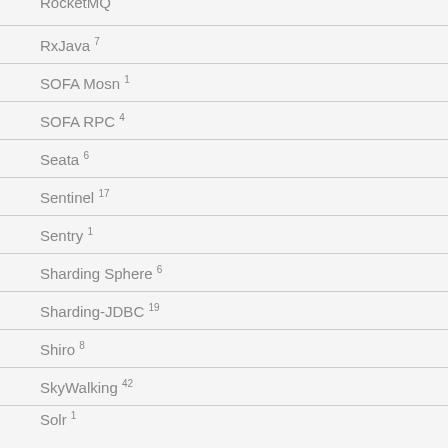RocketMQ
RxJava 7
SOFA Mosn 1
SOFA RPC 4
Seata 6
Sentinel 17
Sentry 1
Sharding Sphere 6
Sharding-JDBC 19
Shiro 8
SkyWalking 42
Solr 1